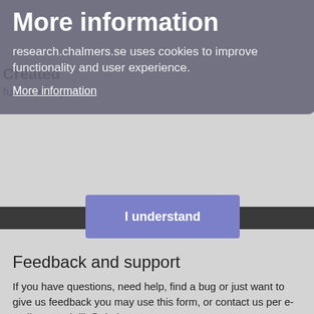More information
research.chalmers.se uses cookies to improve functionality and user experience.
More information
I understand
Feedback and support
If you have questions, need help, find a bug or just want to give us feedback you may use this form, or contact us per e-mail research.lib@chalmers.se.
MESSAGE